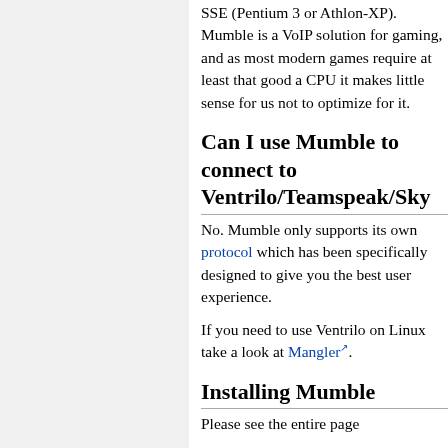SSE (Pentium 3 or Athlon-XP). Mumble is a VoIP solution for gaming, and as most modern games require at least that good a CPU it makes little sense for us not to optimize for it.
Can I use Mumble to connect to Ventrilo/Teamspeak/Sky
No. Mumble only supports its own protocol which has been specifically designed to give you the best user experience.
If you need to use Ventrilo on Linux take a look at Mangler.
Installing Mumble
Please see the entire page